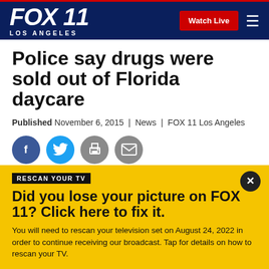FOX 11 LOS ANGELES | Watch Live
Police say drugs were sold out of Florida daycare
Published November 6, 2015 | News | FOX 11 Los Angeles
[Figure (other): Social sharing icons: Facebook, Twitter, Print, Email]
OVIEDO, Fla. (WOFL FOX 35) - Four people have been arrested, accused of selling drugs out of an Oviedo
RESCAN YOUR TV
Did you lose your picture on FOX 11? Click here to fix it.
You will need to rescan your television set on August 24, 2022 in order to continue receiving our broadcast. Tap for details on how to rescan your TV.